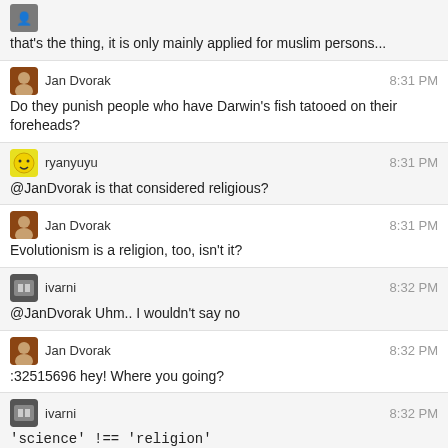that's the thing, it is only mainly applied for muslim persons...
Jan Dvorak  8:31 PM
Do they punish people who have Darwin's fish tatooed on their foreheads?
ryanyuyu  8:31 PM
@JanDvorak is that considered religious?
Jan Dvorak  8:31 PM
Evolutionism is a religion, too, isn't it?
ivarni  8:32 PM
@JanDvorak Uhm.. I wouldn't say no
Jan Dvorak  8:32 PM
:32515696 hey! Where you going?
ivarni  8:32 PM
'science' !== 'religion'
Tunaki  8:32 PM
you ninjad me :( my arrow didn't make sense anymore
ryanyuyu  8:32 PM
Never heard of it as a religion.
Jan Dvorak  8:33 PM